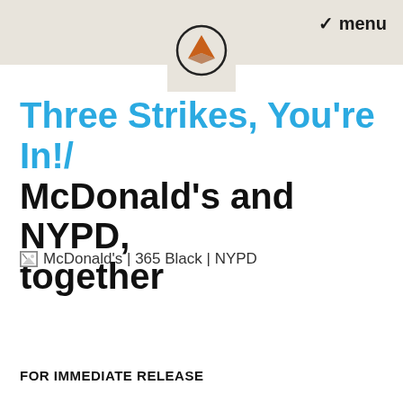menu
[Figure (logo): Pontiac-style logo — a circle containing an orange arrowhead-shaped emblem pointing downward]
Three Strikes, You're In!/ McDonald's and NYPD, together
[Figure (illustration): Broken image placeholder with alt text: McDonald's | 365 Black | NYPD]
FOR IMMEDIATE RELEASE